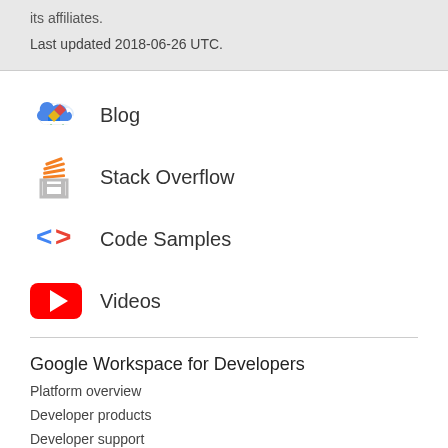its affiliates.
Last updated 2018-06-26 UTC.
Blog
Stack Overflow
Code Samples
Videos
Google Workspace for Developers
Platform overview
Developer products
Developer support